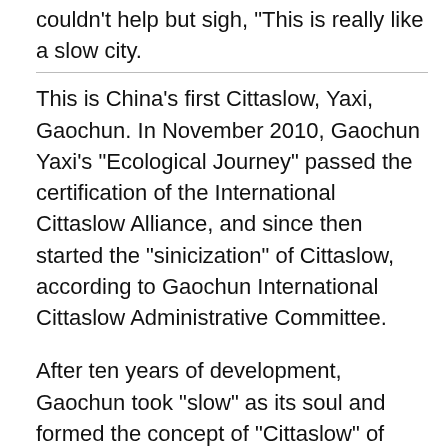couldn't help but sigh, "This is really like a slow city."
This is China's first Cittaslow, Yaxi, Gaochun. In November 2010, Gaochun Yaxi's "Ecological Journey" passed the certification of the International Cittaslow Alliance, and since then started the "sinicization" of Cittaslow, according to Gaochun International Cittaslow Administrative Committee.
After ten years of development, Gaochun took "slow" as its soul and formed the concept of "Cittaslow" of "taste slow life and share happiness", and cultivated the "Mountain Cittaslow" in the east, "Cultural Cittaslow" in the middle, and "Watery Cittaslow" in the west. "Slow" has become Gaochun's unique landscape and characteristic competitiveness, realizing a whole-region eco-tourism pattern with mountains, greenery, and water systems.